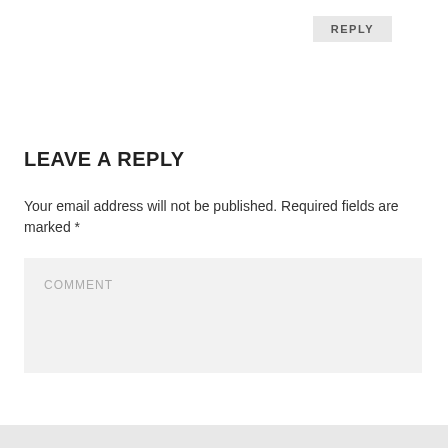REPLY
LEAVE A REPLY
Your email address will not be published. Required fields are marked *
COMMENT
[Figure (screenshot): Infolinks advertisement banner for Bloomingdale's featuring logo, tagline 'View Today's Top Deals!', a model in a wide-brim hat, and a 'SHOP NOW >' button]